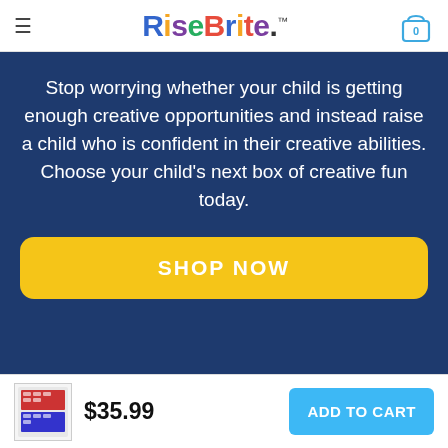RiseBrite™
Stop worrying whether your child is getting enough creative opportunities and instead raise a child who is confident in their creative abilities. Choose your child's next box of creative fun today.
SHOP NOW
$35.99
ADD TO CART